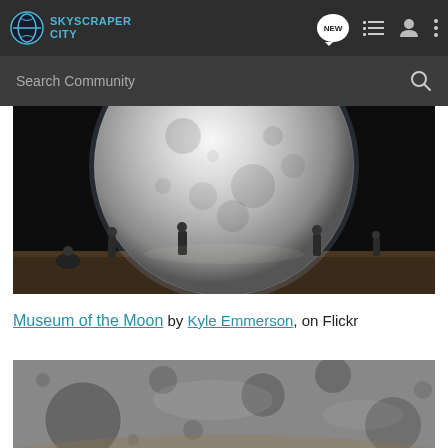SkyscraperCity
[Figure (screenshot): Navigation bar with SkyscraperCity logo, NEW message bubble icon, list icon, profile icon, and three-dot menu icon on dark background]
[Figure (screenshot): Search bar with placeholder text 'Search Community' and search icon on dark grey background]
[Figure (photo): Large illuminated moon sculpture displayed in a dark room with people sitting and standing around it on a wooden floor. Museum of the Moon installation.]
Museum of the Moon by Kyle Emmerson, on Flickr
[Figure (photo): Close-up grayscale photograph of the moon surface showing craters and texture details.]